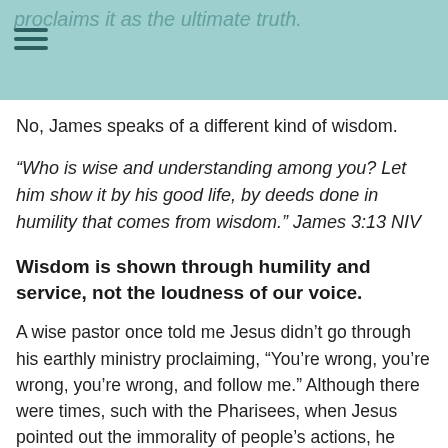proclaims it as the ultimate truth.
No, James speaks of a different kind of wisdom.
“Who is wise and understanding among you? Let him show it by his good life, by deeds done in humility that comes from wisdom.” James 3:13 NIV
Wisdom is shown through humility and service, not the loudness of our voice.
A wise pastor once told me Jesus didn’t go through his earthly ministry proclaiming, “You’re wrong, you’re wrong, you’re wrong, and follow me.” Although there were times, such with the Pharisees, when Jesus pointed out the immorality of people’s actions, he spent much more time healing the sick, binding up the brokenhearted, and leading